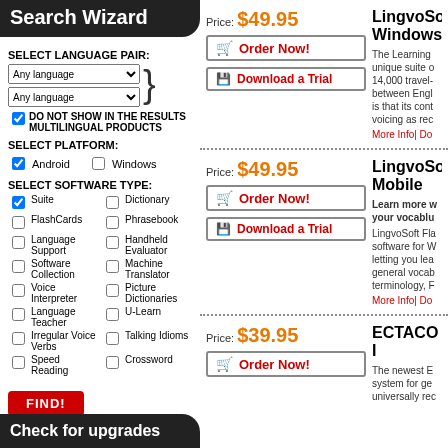Search Wizard
SELECT LANGUAGE PAIR:
Any language (dropdown) / Any language (dropdown)
DO NOT SHOW IN THE RESULTS MULTILINGUAL PRODUCTS
SELECT PLATFORM:
Android (checked), Windows (unchecked)
SELECT SOFTWARE TYPE:
Suite (checked), Dictionary, FlashCards, Phrasebook, Language Support, Handheld Evaluator, Software Collection, Machine Translator, Voice Interpreter, Picture Dictionaries, Language Teacher, U-Learn, Irregular Voice Verbs, Talking Idioms, Speed Reading, Crossword
FIND!
Check for upgrades
Price: $49.95
Order Now!
Download a Trial
LingvoSoft Windows
The Learning unique suite c 14,000 travel- between Engl is that its cont voicing as rec
More Info| Do
Price: $49.95
Order Now!
Download a Trial
LingvoSoft Mobile
Learn more v your vocabu
LingvoSoft Fla software for W letting you lea general vocab terminology, F
More Info| Do
Price: $39.95
Order Now!
ECTACO I
The newest E system for ge universally rec